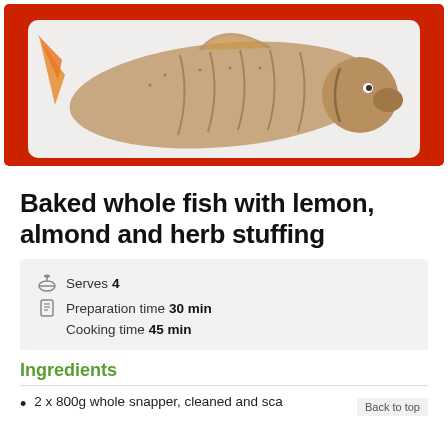[Figure (photo): A whole baked fish (snapper) on a white rectangular plate on a red cutting board, seasoned with herbs and pepper]
Baked whole fish with lemon, almond and herb stuffing
Serves 4
Preparation time 30 min
Cooking time 45 min
Ingredients
2 x 800g whole snapper, cleaned and sca...